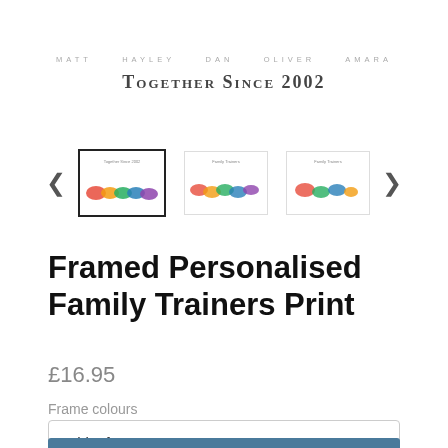Together Since 2002
[Figure (illustration): Three thumbnail images of a personalised family trainers print product in a carousel with left and right navigation arrows. The first thumbnail is selected (highlighted with border). The thumbnails show colourful illustrated trainers/shoes arranged in a row with names and text above them.]
Framed Personalised Family Trainers Print
£16.95
Frame colours
White frame